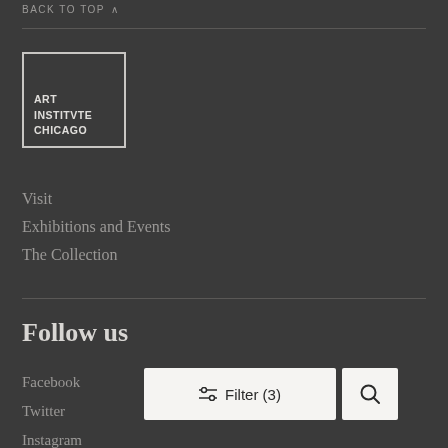BACK TO TOP ∧
[Figure (logo): Art Institute Chicago logo — white text on dark background inside a white-bordered rectangle reading ART INSTITVTE CHICAGO]
Visit
Exhibitions and Events
The Collection
Follow us
Facebook
Twitter
Instagram
[Figure (other): Filter (3) button with sliders icon and a search magnifying glass button, both white rounded rectangles]
Filter (3)